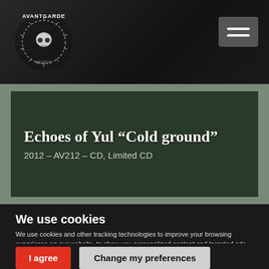[Figure (logo): Avantgarde Music logo with skull and thorn wreath, white text on dark background]
Echoes of Yul “Cold ground”
2012 – AV212 – CD, Limited CD
We use cookies
We use cookies and other tracking technologies to improve your browsing experience on our website, to show you personalized content and targeted ads, to analyze our website traffic, and to understand where our visitors are coming from. By browsing our website, you consent to our use of cookies and other tracking technologies.
I agree | Change my preferences